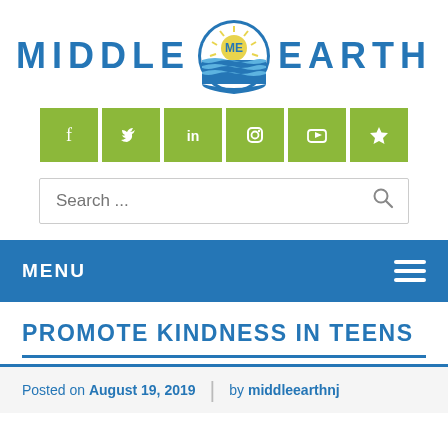[Figure (logo): Middle Earth organization logo with globe/sun graphic and text MIDDLE EARTH in blue]
[Figure (infographic): Social media icon bar with Facebook, Twitter, LinkedIn, Instagram, YouTube, and star icons on olive/green background]
Search ...
MENU
PROMOTE KINDNESS IN TEENS
Posted on August 19, 2019  |  by middleearthnj